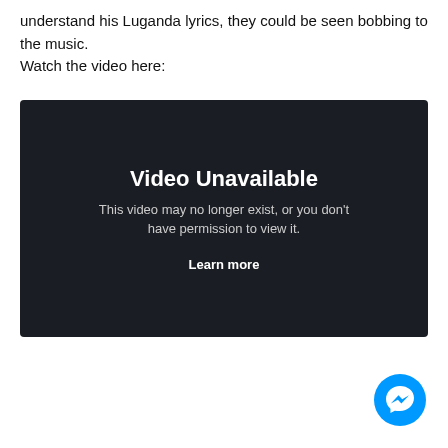understand his Luganda lyrics, they could be seen bobbing to the music.
Watch the video here:
[Figure (screenshot): Embedded video player showing 'Video Unavailable' error message on a dark background. Text reads: 'Video Unavailable. This video may no longer exist, or you don't have permission to view it. Learn more']
[Figure (logo): Facebook Messenger icon — blue circle with white lightning bolt chat bubble logo, bottom-right corner]